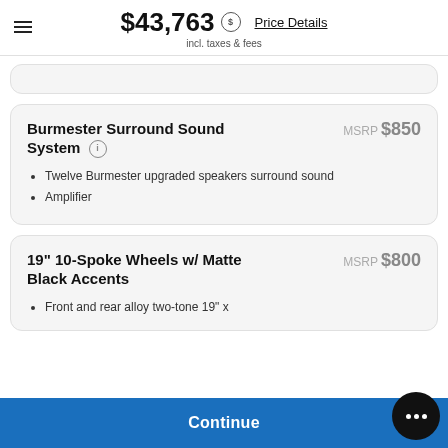$43,763 incl. taxes & fees — Price Details
Burmester Surround Sound System — MSRP $850
Twelve Burmester upgraded speakers surround sound
Amplifier
19" 10-Spoke Wheels w/ Matte Black Accents — MSRP $800
Front and rear alloy two-tone 19" x
Continue